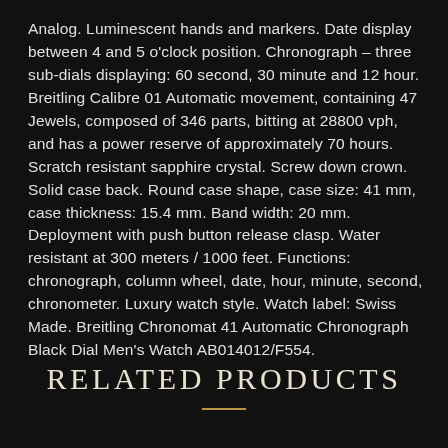Analog. Luminescent hands and markers. Date display between 4 and 5 o'clock position. Chronograph – three sub-dials displaying: 60 second, 30 minute and 12 hour. Breitling Calibre 01 Automatic movement, containing 47 Jewels, composed of 346 parts, bitting at 28800 vph, and has a power reserve of approximately 70 hours. Scratch resistant sapphire crystal. Screw down crown. Solid case back. Round case shape, case size: 41 mm, case thickness: 15.4 mm. Band width: 20 mm. Deployment with push button release clasp. Water resistant at 300 meters / 1000 feet. Functions: chronograph, column wheel, date, hour, minute, second, chronometer. Luxury watch style. Watch label: Swiss Made. Breitling Chronomat 41 Automatic Chronograph Black Dial Men's Watch AB014012/F554.
RELATED PRODUCTS